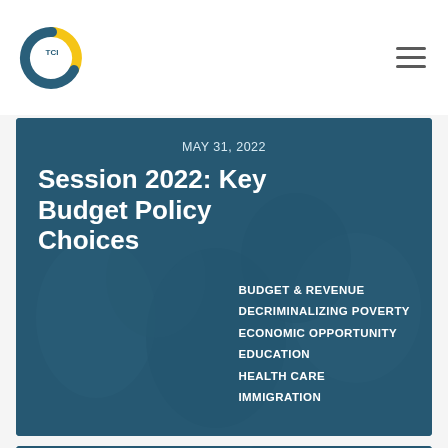TCI
MAY 31, 2022
Session 2022: Key Budget Policy Choices
BUDGET & REVENUE
DECRIMINALIZING POVERTY
ECONOMIC OPPORTUNITY
EDUCATION
HEALTH CARE
IMMIGRATION
MARCH 2, 2022